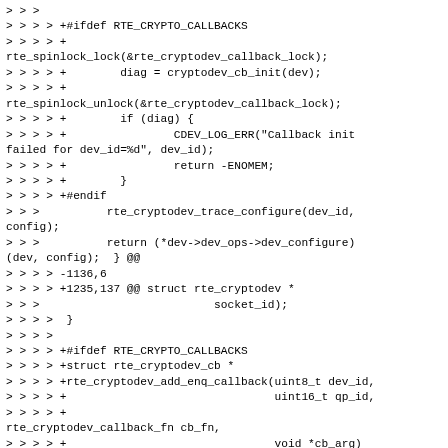> > >
> > > > +#ifdef RTE_CRYPTO_CALLBACKS
> > > > +
rte_spinlock_lock(&rte_cryptodev_callback_lock);
> > > > +        diag = cryptodev_cb_init(dev);
> > > > +
rte_spinlock_unlock(&rte_cryptodev_callback_lock);
> > > > +        if (diag) {
> > > > +                CDEV_LOG_ERR("Callback init failed for dev_id=%d", dev_id);
> > > > +                return -ENOMEM;
> > > > +        }
> > > > +#endif
> > >          rte_cryptodev_trace_configure(dev_id, config);
> > >          return (*dev->dev_ops->dev_configure)(dev, config);  } @@
> > > > -1136,6
> > > > +1235,137 @@ struct rte_cryptodev *
> > >                          socket_id);
> > > >  }
> > > >
> > > > +#ifdef RTE_CRYPTO_CALLBACKS
> > > > +struct rte_cryptodev_cb *
> > > > +rte_cryptodev_add_enq_callback(uint8_t dev_id,
> > > > +                               uint16_t qp_id,
> > > > +
rte_cryptodev_callback_fn cb_fn,
> > > > +                               void *cb_arg)
> > > > +{